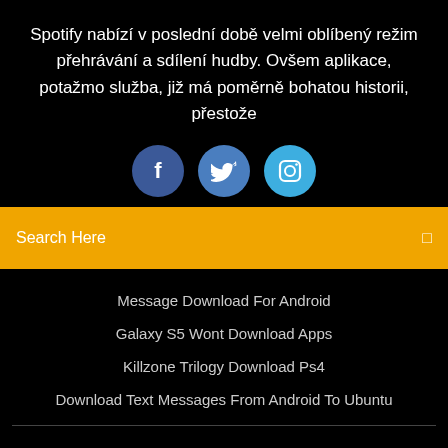Spotify nabízí v poslední době velmi oblíbený režim přehrávání a sdílení hudby. Ovšem aplikace, potažmo služba, již má poměrně bohatou historii, přestože
[Figure (illustration): Three circular social media icons: Facebook (dark blue), Twitter (medium blue), Instagram (light blue), partially visible at bottom of section]
Search Here
Message Download For Android
Galaxy S5 Wont Download Apps
Killzone Trilogy Download Ps4
Download Text Messages From Android To Ubuntu
Copyright ©2022 All rights reserved